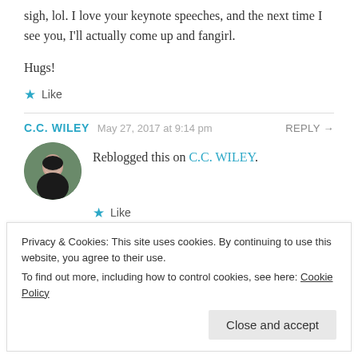sigh, lol. I love your keynote speeches, and the next time I see you, I'll actually come up and fangirl.
Hugs!
Like
C.C. WILEY   May 27, 2017 at 9:14 pm   REPLY →
Reblogged this on C.C. WILEY.
Like
Privacy & Cookies: This site uses cookies. By continuing to use this website, you agree to their use.
To find out more, including how to control cookies, see here: Cookie Policy
Close and accept